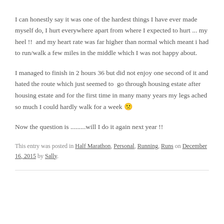I can honestly say it was one of the hardest things I have ever made myself do, I hurt everywhere apart from where I expected to hurt ... my heel !!  and my heart rate was far higher than normal which meant i had to run/walk a few miles in the middle which I was not happy about.
I managed to finish in 2 hours 36 but did not enjoy one second of it and hated the route which just seemed to go through housing estate after housing estate and for the first time in many many years my legs ached so much I could hardly walk for a week 😐
Now the question is .........will I do it again next year !!
This entry was posted in Half Marathon, Personal, Running, Runs on December 16, 2015 by Sally.